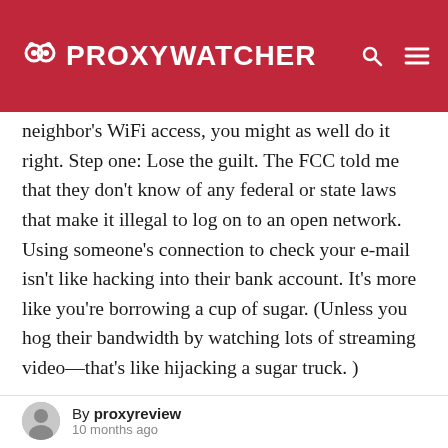PROXYWATCHER
neighbor's WiFi access, you might as well do it right. Step one: Lose the guilt. The FCC told me that they don't know of any federal or state laws that make it illegal to log on to an open network. Using someone's connection to check your e-mail isn't like hacking into their bank account. It's more like you're borrowing a cup of sugar. (Unless you hog their bandwidth by watching lots of streaming video—that's like hijacking a sugar truck. )
In the end, it's your neighbor's Internet service provider—not your neighbor—who will pay for
By proxyreview
10 months ago